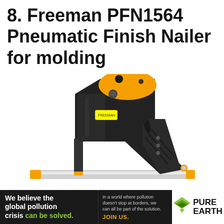8. Freeman PFN1564 Pneumatic Finish Nailer for molding
[Figure (photo): Freeman PFN1564 Pneumatic Finish Nailer — a black and orange pneumatic nail gun shown in profile against a white background, with the nose/magazine pointing left and downward.]
We believe the global pollution crisis can be solved. In a world where pollution doesn't stop at borders, we can all be part of the solution. JOIN US. PURE EARTH